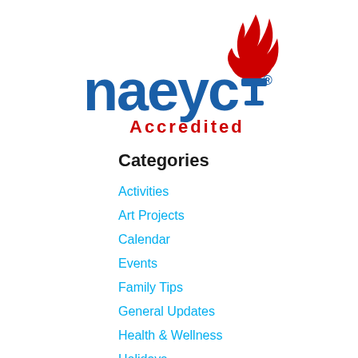[Figure (logo): NAEYC Accredited logo with blue torch/flame icon, blue 'naeyc' text, and red 'Accredited' text below]
Categories
Activities
Art Projects
Calendar
Events
Family Tips
General Updates
Health & Wellness
Holidays
Newsletters
Programs & Curriculum